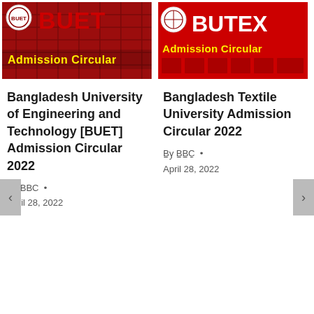[Figure (photo): BUET logo and Admission Circular banner on dark red grid background]
[Figure (photo): BUTEX logo and Admission Circular banner on red background]
Bangladesh University of Engineering and Technology [BUET] Admission Circular 2022
By BBC • April 28, 2022
Bangladesh Textile University Admission Circular 2022
By BBC • April 28, 2022